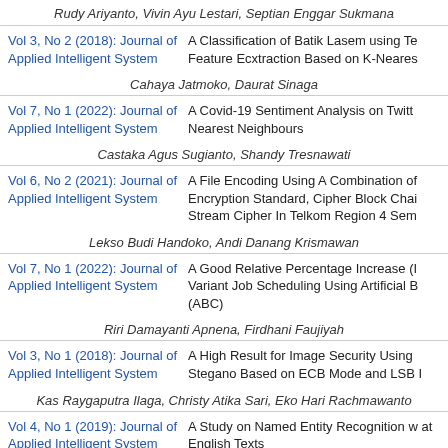Rudy Ariyanto, Vivin Ayu Lestari, Septian Enggar Sukmana
| Journal | Title |
| --- | --- |
| Vol 3, No 2 (2018): Journal of Applied Intelligent System | A Classification of Batik Lasem using Te Feature Ecxtraction Based on K-Neares |
| Vol 7, No 1 (2022): Journal of Applied Intelligent System | A Covid-19 Sentiment Analysis on Twitt Nearest Neighbours |
| Vol 6, No 2 (2021): Journal of Applied Intelligent System | A File Encoding Using A Combination of Encryption Standard, Cipher Block Chai Stream Cipher In Telkom Region 4 Sem |
| Vol 7, No 1 (2022): Journal of Applied Intelligent System | A Good Relative Percentage Increase (I Variant Job Scheduling Using Artificial B (ABC) |
| Vol 3, No 1 (2018): Journal of Applied Intelligent System | A High Result for Image Security Using Stegano Based on ECB Mode and LSB I |
| Vol 4, No 1 (2019): Journal of Applied Intelligent System | A Study on Named Entity Recognition w at English Texts |
Cahaya Jatmoko, Daurat Sinaga
Castaka Agus Sugianto, Shandy Tresnawati
Lekso Budi Handoko, Andi Danang Krismawan
Riri Damayanti Apnena, Firdhani Faujiyah
Kas Raygaputra Ilaga, Christy Atika Sari, Eko Hari Rachmawanto
Metin Bilgin